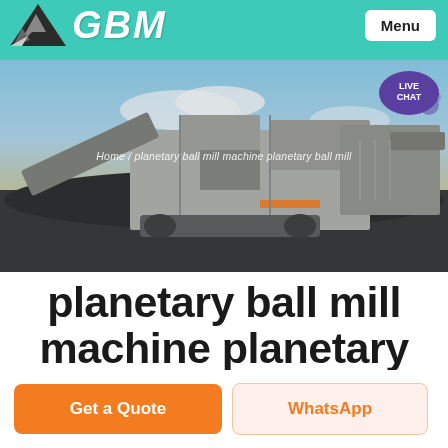GBM — Menu
[Figure (photo): Large industrial mining/crushing machine (mobile crusher/screener) on a job site with coal/aggregate, blue sky background. Breadcrumb text: Home / planetary ball mill machine planetary ball mill]
planetary ball mill machine planetary
Get a Quote
WhatsApp